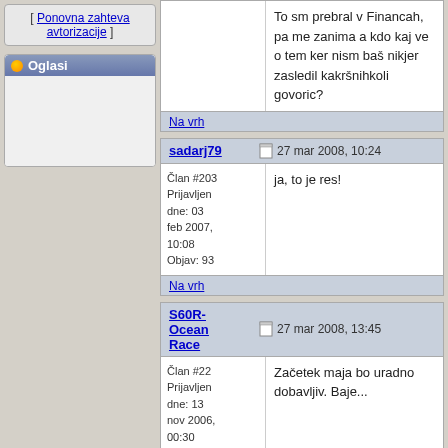[ Ponovna zahteva avtorizacije ]
Oglasi
To sm prebral v Financah, pa me zanima a kdo kaj ve o tem ker nism baš nikjer zasledil kakršnihkoli govoric?
Na vrh
sadarj79 — 27 mar 2008, 10:24
ja, to je res!
Član #203
Prijavljen dne: 03 feb 2007, 10:08
Objav: 93
Na vrh
S60R-Ocean Race — 27 mar 2008, 13:45
Začetek maja bo uradno dobavljiv. Baje...
Član #22
Prijavljen dne: 13 nov 2006, 00:30
Objav: 1418
Na vrh